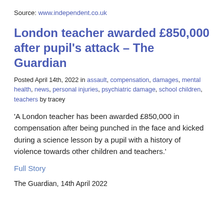Source: www.independent.co.uk
London teacher awarded £850,000 after pupil's attack – The Guardian
Posted April 14th, 2022 in assault, compensation, damages, mental health, news, personal injuries, psychiatric damage, school children, teachers by tracey
'A London teacher has been awarded £850,000 in compensation after being punched in the face and kicked during a science lesson by a pupil with a history of violence towards other children and teachers.'
Full Story
The Guardian, 14th April 2022